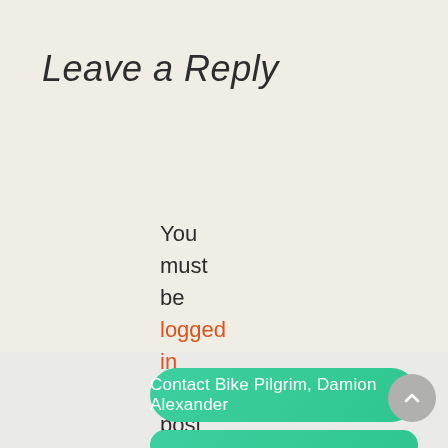Leave a Reply
You must be logged in to post a comment.
Contact Bike Pilgrim, Damion Alexander